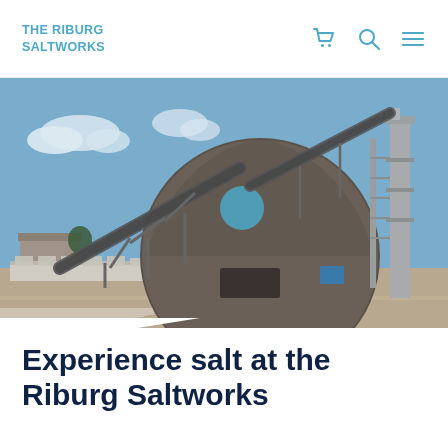THE RIBURG SALTWORKS
[Figure (photo): Exterior photograph of the Riburg Saltworks industrial facility featuring a large dark dome-shaped storage building with a blue circular mark, conveyor belts on metal frameworks, palletized goods in the foreground, and industrial towers under a partly cloudy sky.]
Experience salt at the Riburg Saltworks